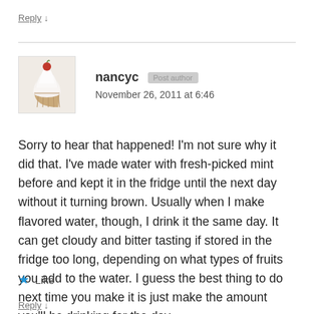Reply ↓
[Figure (photo): Avatar image of a cupcake with white frosting and a red berry on top]
nancyc  [Post author]  November 26, 2011 at 6:46
Sorry to hear that happened! I'm not sure why it did that. I've made water with fresh-picked mint before and kept it in the fridge until the next day without it turning brown. Usually when I make flavored water, though, I drink it the same day. It can get cloudy and bitter tasting if stored in the fridge too long, depending on what types of fruits you add to the water. I guess the best thing to do next time you make it is just make the amount you'll be drinking for the day.
★ Like
Reply ↓